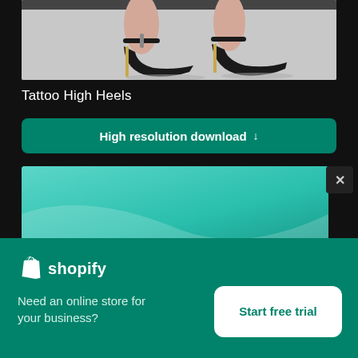[Figure (photo): Photo of legs wearing black high heel shoes with ankle strap and gold stiletto heels, standing on a gray floor]
Tattoo High Heels
High resolution download ↓
[Figure (screenshot): Partial teal/cyan background image preview with white diagonal swoosh]
×
[Figure (logo): Shopify logo — shopping bag icon with 'shopify' text in white]
Need an online store for your business?
Start free trial